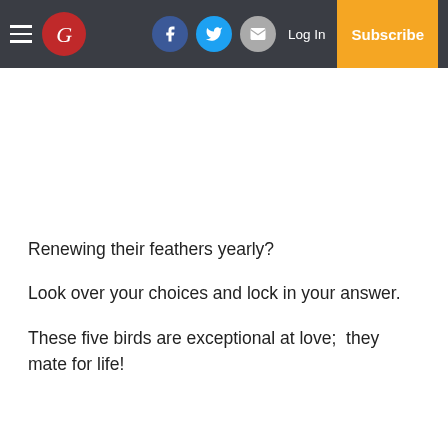Navigation bar with hamburger menu, G logo, Facebook, Twitter, Email icons, Log In, Subscribe
Renewing their feathers yearly?
Look over your choices and lock in your answer.
These five birds are exceptional at love;  they mate for life!